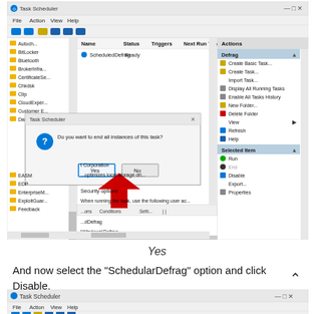[Figure (screenshot): Task Scheduler window screenshot showing a dialog box asking 'Do you want to end all instances of this task?' with Yes and No buttons, a red arrow pointing to the Yes button, and the Actions panel on the right showing Defrag and Selected Item sections]
Yes
And now select the “SchedularDefrag” option and click Disable.
[Figure (screenshot): Task Scheduler window partially visible at bottom of page showing title bar and menu bar]